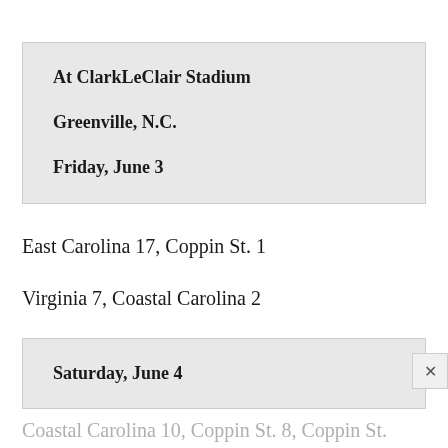At ClarkLeClair Stadium
Greenville, N.C.
Friday, June 3
East Carolina 17, Coppin St. 1
Virginia 7, Coastal Carolina 2
Saturday, June 4
Coastal Carolina 10, Coppin St. 8, Coppin St.